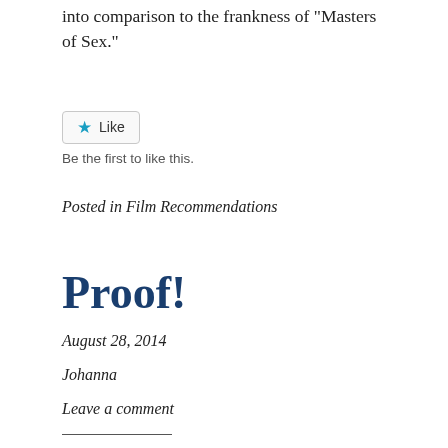into comparison to the frankness of “Masters of Sex.”
[Figure (other): Like button widget with star icon]
Be the first to like this.
Posted in Film Recommendations
Proof!
August 28, 2014
Johanna
Leave a comment
(One should watch a film adaptation of a